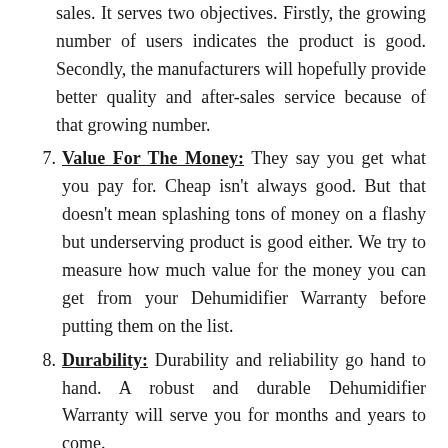sales. It serves two objectives. Firstly, the growing number of users indicates the product is good. Secondly, the manufacturers will hopefully provide better quality and after-sales service because of that growing number.
7. Value For The Money: They say you get what you pay for. Cheap isn't always good. But that doesn't mean splashing tons of money on a flashy but underserving product is good either. We try to measure how much value for the money you can get from your Dehumidifier Warranty before putting them on the list.
8. Durability: Durability and reliability go hand to hand. A robust and durable Dehumidifier Warranty will serve you for months and years to come.